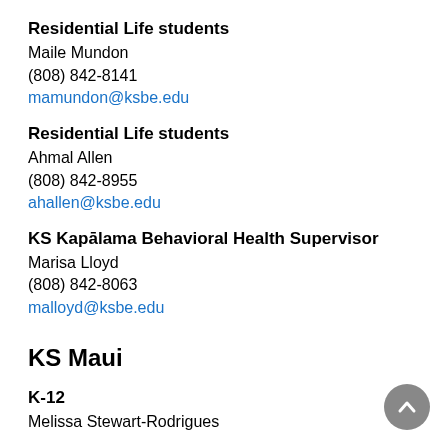Residential Life students
Maile Mundon
(808) 842-8141
mamundon@ksbe.edu
Residential Life students
Ahmal Allen
(808) 842-8955
ahallen@ksbe.edu
KS Kapālama Behavioral Health Supervisor
Marisa Lloyd
(808) 842-8063
malloyd@ksbe.edu
KS Maui
K-12
Melissa Stewart-Rodrigues